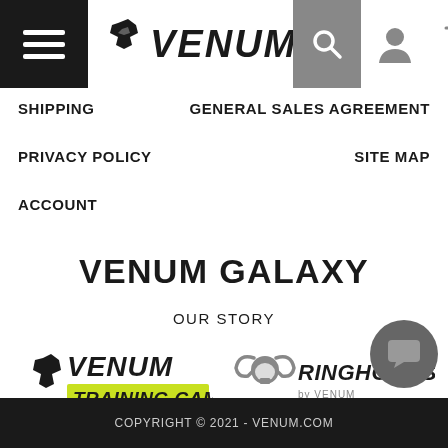[Figure (logo): Venum logo with snake/viper emblem and VENUM text in stylized font]
SHIPPING
GENERAL SALES AGREEMENT
PRIVACY POLICY
SITE MAP
ACCOUNT
VENUM GALAXY
OUR STORY
[Figure (logo): Venum Training Camp logo with snake emblem and yellow/green accent]
[Figure (logo): Ringhorns by Venum logo with bull horns emblem]
COPYRIGHT © 2021 - VENUM.COM